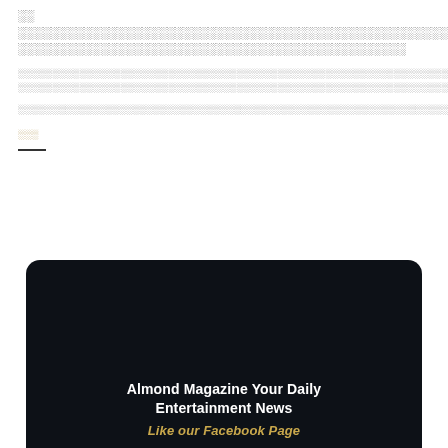░░░░░░░░░░░░░░░░░░░░░░░░░░░░░░░░░░░░░░░░░░░░░░░░░░░░░░░░░░░░░░░░░░░░░░░░░░░░░░░░░░░░░░░░░░░░░░░░░░░░░░░░░░░░░░░░░░░░░░░░░░░░░░░░░░░░░░░░░░░░░░░░░░░░░░░░░░░░░░░░
░░░░░░░░░░░░░░░░░░░░░░░░░░░░░░░░░░░░░░░░░░░░░░░░░░░░░░░░░░░░░░░░░░░░░░░░░░░░░░░░░░░░░░░░░░░░░░░░░░░░░░░░░░░░░░░░░░░░░░░░░░░░░░░░░░░░░░░░░░░░░░░░░░░░░░░░░░░░░░░░░░░░░░░░░░░░░░░░░░░░░░░░░░░░░░░░░░░░░░░░░░░░░░░░░░░░░░░░░░░░░░░░░░░░░░░░░░░░░░░░░░░░░░░░░░░░░░░░░░░░░░░░░░░░░░░░░░░░░░░░░░░░░░░░░░░░░░░░░░░░░░░░░░░░░░░░░
░░░░░░░░░░░░░░░░░░░░░░░░░░░░░░░░░░░░░░░░░░░░░░░░░░░░░░░░░░░░░░░░░░░░░░░░░░░░░░░░░░░░░░░░░░░░░░░░░░░░░░░░░░░░░░░░░░░░░░░░░░░░░░░░░░░░░░░░░░░░░░░░░░░░░░░░░░░░░░░░░░░░░░░░░░░░░░░░░░░░░░░
░░░
[Figure (other): Footer banner: dark rounded box with 'Almond Magazine Your Daily Entertainment News' and 'Like our Facebook Page' text]